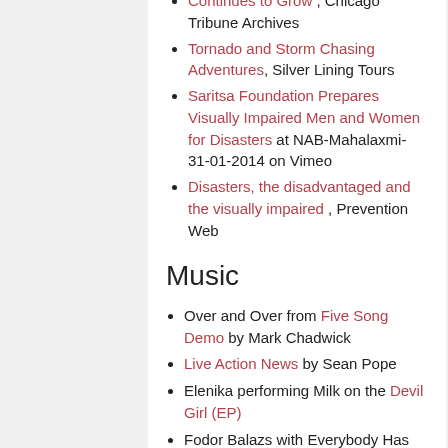Continues to Grow , Chicago Tribune Archives
Tornado and Storm Chasing Adventures, Silver Lining Tours
Saritsa Foundation Prepares Visually Impaired Men and Women for Disasters at NAB-Mahalaxmi-31-01-2014 on Vimeo
Disasters, the disadvantaged and the visually impaired , Prevention Web
Music
Over and Over from Five Song Demo by Mark Chadwick
Live Action News by Sean Pope
Elenika performing Milk on the Devil Girl (EP)
Fodor Balazs with Everybody Has Another Life from the Astronaut Farmer (EP)
Erik Jackson performing Rainy Days from the Rainy Days (LP)
Girls Margaritas And Ukulele by Domeneko on the Noir (LP)
Dream On on Lush Life by Poldoore